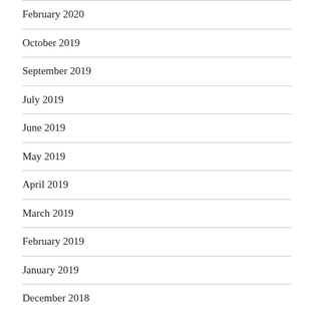February 2020
October 2019
September 2019
July 2019
June 2019
May 2019
April 2019
March 2019
February 2019
January 2019
December 2018